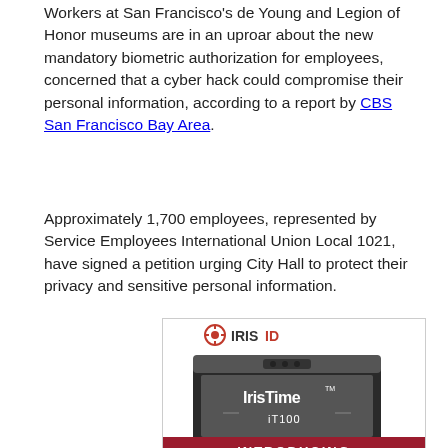Workers at San Francisco's de Young and Legion of Honor museums are in an uproar about the new mandatory biometric authorization for employees, concerned that a cyber hack could compromise their personal information, according to a report by CBS San Francisco Bay Area.
Approximately 1,700 employees, represented by Service Employees International Union Local 1021, have signed a petition urging City Hall to protect their privacy and sensitive personal information.
[Figure (photo): Advertisement image for Iris ID IrisTime iT100 biometric device. Shows a tablet-like device with iris scanning cameras on top, displaying the text 'IrisTime TM iT100' on a dark gray screen. Below the device is a red banner with white text reading 'INTRODUCING'.]